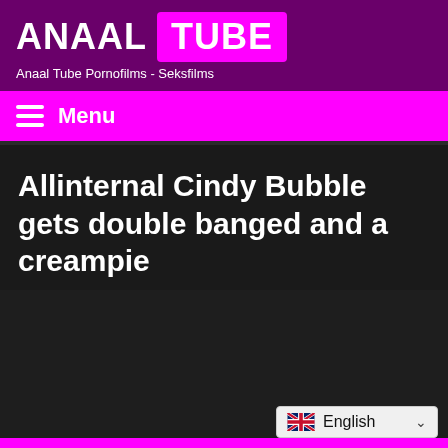ANAAL TUBE — Anaal Tube Pornofilms - Seksfilms
Menu
Allinternal Cindy Bubble gets double banged and a creampie
English